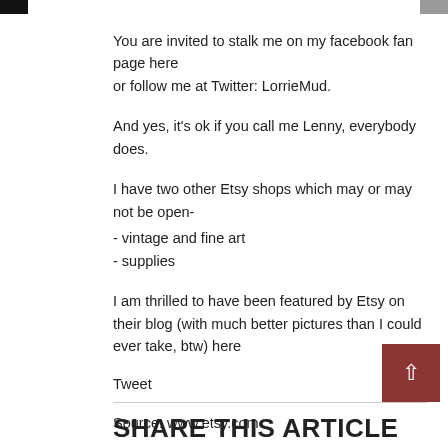You are invited to stalk me on my facebook fan page here
or follow me at Twitter: LorrieMud.
And yes, it's ok if you call me Lenny, everybody does.
I have two other Etsy shops which may or may not be open-
- vintage and fine art
- supplies
I am thrilled to have been featured by Etsy on their blog (with much better pictures than I could ever take, btw) here
Tweet
Source: www.etsy.com
SHARE THIS ARTICLE